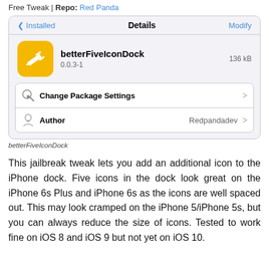Free Tweak | Repo: Red Panda
[Figure (screenshot): iOS Cydia package details screen showing betterFiveIconDock app, version 0.0.3-1, 136 kB, with Change Package Settings and Author (Redpandadev) options]
betterFiveIconDock
This jailbreak tweak lets you add an additional icon to the iPhone dock. Five icons in the dock look great on the iPhone 6s Plus and iPhone 6s as the icons are well spaced out. This may look cramped on the iPhone 5/iPhone 5s, but you can always reduce the size of icons. Tested to work fine on iOS 8 and iOS 9 but not yet on iOS 10.